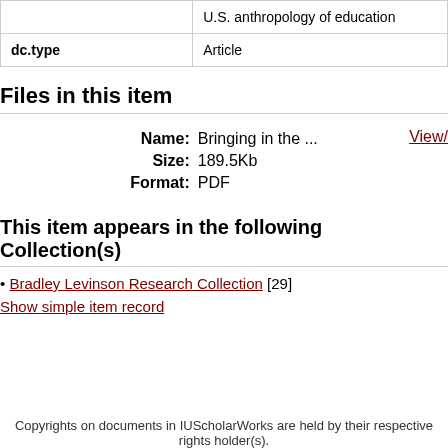|  |  |
| --- | --- |
|  | U.S. anthropology of education |
| dc.type | Article |
Files in this item
Name: Bringing in the ...
Size: 189.5Kb
Format: PDF
[View]
This item appears in the following Collection(s)
Bradley Levinson Research Collection [29]
Show simple item record
Copyrights on documents in IUScholarWorks are held by their respective rights holder(s).